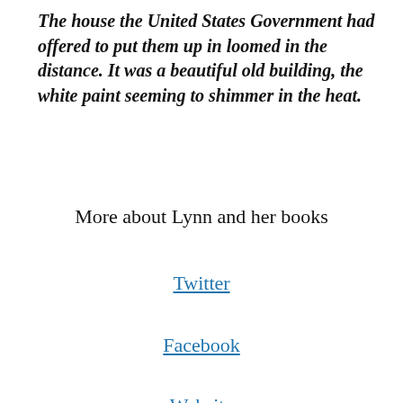The house the United States Government had offered to put them up in loomed in the distance. It was a beautiful old building, the white paint seeming to shimmer in the heat.
More about Lynn and her books
Twitter
Facebook
Website
Blog
Siren Author Page